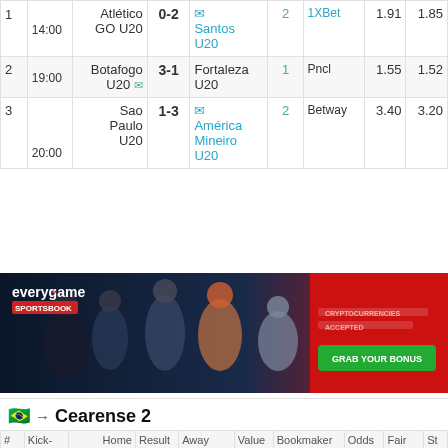| # | Kick-off | Home | Result | Away | Value Bet | Bookmaker | Odds | Fair odds |
| --- | --- | --- | --- | --- | --- | --- | --- | --- |
| 1 | 14:00 | Atlético GO U20 | 0-2 | Santos U20 | 2 | 1XBet | 1.91 | 1.85 |
| 2 | 19:00 | Botafogo U20 🏆 | 3-1 | Fortaleza U20 | 1 | Pncl | 1.55 | 1.52 |
| 3 | 20:00 | Sao Paulo U20 | 1-3 | América Mineiro U20 | 2 | Betway | 3.40 | 3.20 |
[Figure (illustration): Everygame Sportsbook advertisement banner with sports athletes and 'GRAB YOUR BONUS' button]
🇧🇷 → Cearense 2
| # | Kick-off | Home | Result | Away | Value Bet | Bookmaker | Odds | Fair odds | St |
| --- | --- | --- | --- | --- | --- | --- | --- | --- | --- |
| 1 | 14:00 | Barbalha | 1-0 | Paque | X | Betfair | 3.10 | 2.93 | 0. |